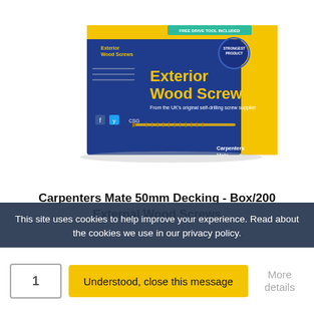[Figure (photo): Product photo of Carpenters Mate Exterior Wood Screws box - blue and yellow packaging with a screw shown on the front]
Carpenters Mate 50mm Decking - Box/200 External Wood Screws
£9.50
This site uses cookies to help improve your experience. Read about the cookies we use in our privacy policy.
Understood, close this message
1
More details